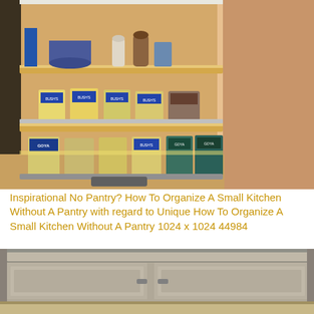[Figure (photo): A pull-out pantry drawer with wooden shelves holding multiple cans (Bush's, Goya) and jars, with various kitchen items on top shelf including a blue pot and salt/pepper shakers. Warm wood tones with metal drawer rail at bottom.]
Inspirational No Pantry? How To Organize A Small Kitchen Without A Pantry with regard to Unique How To Organize A Small Kitchen Without A Pantry 1024 x 1024 44984
[Figure (photo): Bottom portion of kitchen cabinets with gray/taupe finish, showing cabinet doors and a drawer, with light wood flooring visible at the bottom.]